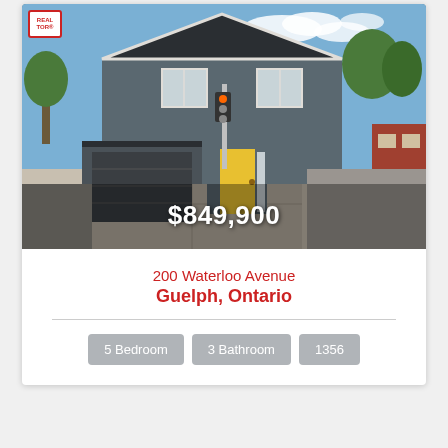[Figure (photo): Exterior photo of a grey two-storey house with yellow front door and attached garage, located at a street corner in Guelph Ontario. A REALTOR logo badge appears in the top-left corner of the photo.]
$849,900
200 Waterloo Avenue
Guelph, Ontario
5 Bedroom
3 Bathroom
1356